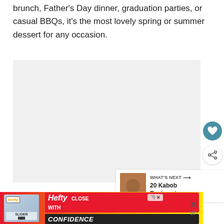brunch, Father's Day dinner, graduation parties, or casual BBQs, it's the most lovely spring or summer dessert for any occasion.
[Figure (photo): A large image placeholder area showing a light gray background, representing a food photo of a spring or summer dessert.]
[Figure (other): A 'What's Next' card with a thumbnail image of kabob recipes and the text '20 Kabob Recipes to...']
[Figure (other): An advertisement banner for Hefty Slider bags with the text 'HEFTY CLOSE WITH CONFIDENCE' on a colorful red-orange-yellow gradient background.]